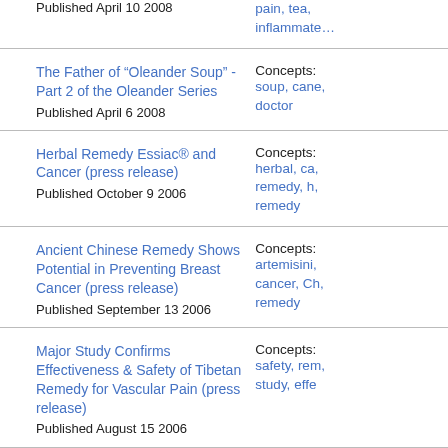Published April 10 2008
Concepts: pain, tea, inflammate...
The Father of “Oleander Soup” - Part 2 of the Oleander Series
Published April 6 2008
Concepts: soup, cane, doctor
Herbal Remedy Essiac® and Cancer (press release)
Published October 9 2006
Concepts: herbal, ca, remedy, h, remedy
Ancient Chinese Remedy Shows Potential in Preventing Breast Cancer (press release)
Published September 13 2006
Concepts: artemisini, cancer, Ch, remedy
Major Study Confirms Effectiveness & Safety of Tibetan Remedy for Vascular Pain (press release)
Published August 15 2006
Concepts: safety, rem, study, effe